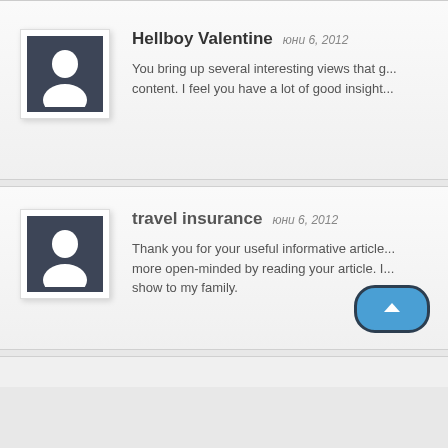Hellboy Valentine — юни 6, 2012
You bring up several interesting views that g... content. I feel you have a lot of good insight...
travel insurance — юни 6, 2012
Thank you for your useful informative article... more open-minded by reading your article. I... show to my family.
[Figure (other): Back to top button — blue rounded rectangle with white chevron pointing up, dark border]